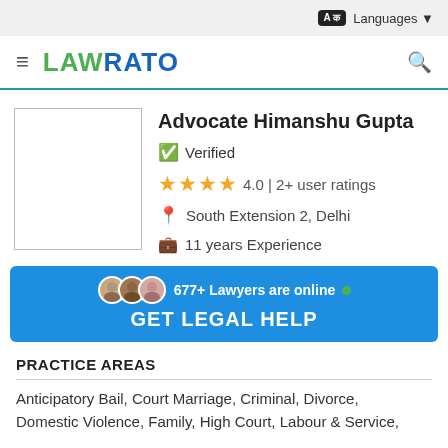Languages
[Figure (logo): LawRato logo with hamburger menu and search icon]
Advocate Himanshu Gupta
Verified
4.0 | 2+ user ratings
South Extension 2, Delhi
11 years Experience
677+ Lawyers are online • GET LEGAL HELP
PRACTICE AREAS
Anticipatory Bail, Court Marriage, Criminal, Divorce, Domestic Violence, Family, High Court, Labour & Service,